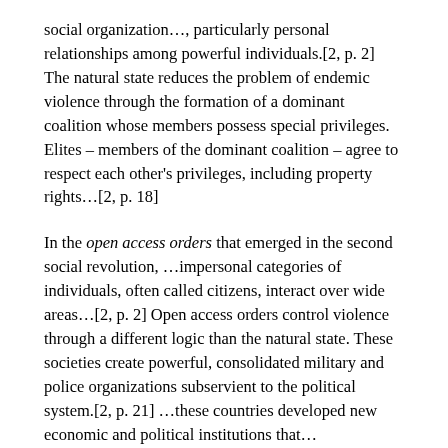social organization…, particularly personal relationships among powerful individuals.[2, p. 2] The natural state reduces the problem of endemic violence through the formation of a dominant coalition whose members possess special privileges. Elites – members of the dominant coalition – agree to respect each other's privileges, including property rights…[2, p. 18]
In the open access orders that emerged in the second social revolution, …impersonal categories of individuals, often called citizens, interact over wide areas…[2, p. 2] Open access orders control violence through a different logic than the natural state. These societies create powerful, consolidated military and police organizations subservient to the political system.[2, p. 21] …these countries developed new economic and political institutions that… secured open access to legal enforcement of rights